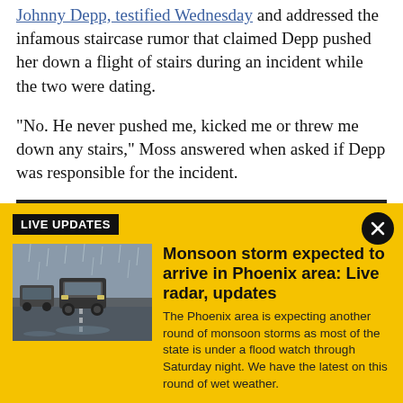Johnny Depp, testified Wednesday and addressed the infamous staircase rumor that claimed Depp pushed her down a flight of stairs during an incident while the two were dating.
"No. He never pushed me, kicked me or threw me down any stairs," Moss answered when asked if Depp was responsible for the incident.
[Figure (infographic): Live Updates banner with yellow background. Contains a 'LIVE UPDATES' black label, a close X button, a thumbnail photo of cars driving in rain, and article headline 'Monsoon storm expected to arrive in Phoenix area: Live radar, updates' with descriptive text.]